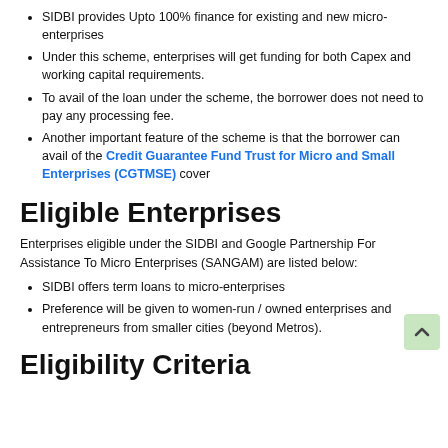SIDBI provides Upto 100% finance for existing and new micro-enterprises
Under this scheme, enterprises will get funding for both Capex and working capital requirements.
To avail of the loan under the scheme, the borrower does not need to pay any processing fee.
Another important feature of the scheme is that the borrower can avail of the Credit Guarantee Fund Trust for Micro and Small Enterprises (CGTMSE) cover
Eligible Enterprises
Enterprises eligible under the SIDBI and Google Partnership For Assistance To Micro Enterprises (SANGAM) are listed below:
SIDBI offers term loans to micro-enterprises
Preference will be given to women-run / owned enterprises and entrepreneurs from smaller cities (beyond Metros).
Eligibility Criteria